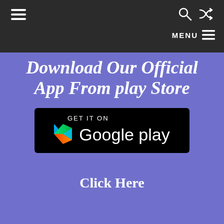≡  🔍  ⇌  MENU ≡
Download Our Official App From play Store
[Figure (logo): Google Play Store badge: GET IT ON Google play with triangular play button logo in gradient colors (green, teal, blue, red)]
Click Here